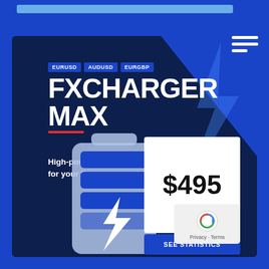[Figure (infographic): FXCharger Max product advertisement with dark navy blue background, showing currency pair tags (EURUSD, AUDUSD, EURGBP), product title FXCHARGER MAX, tagline, price $495, SEE STATISTICS button, and battery icon with lightning bolt]
EURUSD  AUDUSD  EURGBP
FXCHARGER MAX
High-power CHARGER for your Forex account!
$495
SEE STATISTICS
Privacy · Terms